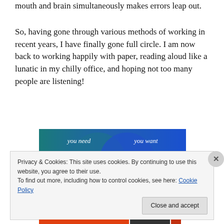some kind of mechanism whereby trying to use your mouth and brain simultaneously makes errors leap out.
So, having gone through various methods of working in recent years, I have finally gone full circle. I am now back to working happily with paper, reading aloud like a lunatic in my chilly office, and hoping not too many people are listening!
[Figure (illustration): A Venn diagram with two overlapping circles on a teal-to-blue gradient background. The left circle is labeled 'you need' and the right circle is labeled 'you want', both in white text.]
Privacy & Cookies: This site uses cookies. By continuing to use this website, you agree to their use. To find out more, including how to control cookies, see here: Cookie Policy
Close and accept